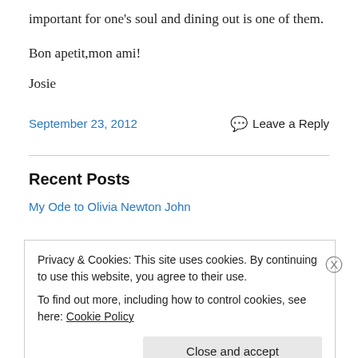important for one’s soul and dining out is one of them.
Bon apetit,mon ami!
Josie
September 23, 2012
Leave a Reply
Recent Posts
My Ode to Olivia Newton John
Privacy & Cookies: This site uses cookies. By continuing to use this website, you agree to their use.
To find out more, including how to control cookies, see here: Cookie Policy
Close and accept